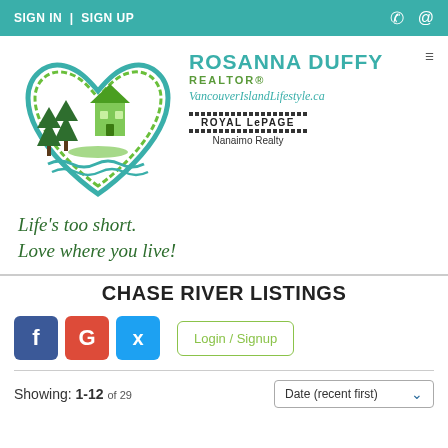SIGN IN | SIGN UP
[Figure (logo): Rosanna Duffy Realtor logo with heart shape containing house and trees, VancouverIslandLifestyle.ca, Royal LePage Nanaimo Realty]
Life's too short. Love where you live!
CHASE RIVER LISTINGS
Social login buttons: Facebook, Google, Twitter, and Login / Signup button
Showing: 1-12 of 29
Date (recent first)